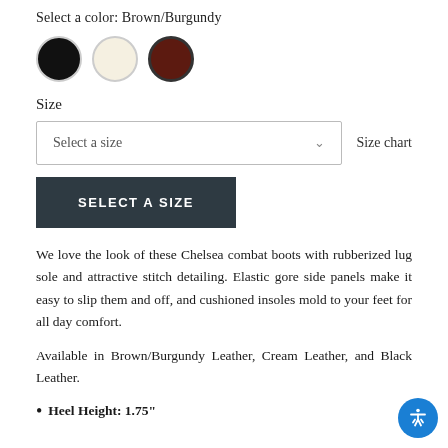Select a color: Brown/Burgundy
[Figure (other): Three color swatches: black circle, cream/off-white circle, brown/burgundy circle (selected, with thick border)]
Size
Select a size
Size chart
SELECT A SIZE
We love the look of these Chelsea combat boots with rubberized lug sole and attractive stitch detailing. Elastic gore side panels make it easy to slip them and off, and cushioned insoles mold to your feet for all day comfort.
Available in Brown/Burgundy Leather, Cream Leather, and Black Leather.
Heel Height: 1.75"